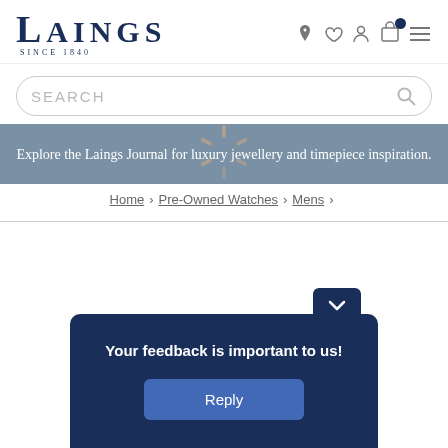[Figure (logo): Laings logo with text LAINGS and SINCE 1840 in dark navy blue]
[Figure (screenshot): Navigation icons: location pin, heart, person, shopping bag with dark dot, hamburger menu]
[Figure (screenshot): Search bar with placeholder text SEARCH and magnifying glass icon]
Explore the Laings Journal for luxury jewellery and timepiece inspiration.
[Figure (other): Loading spinner overlay on banner area]
Home > Pre-Owned Watches > Mens >
Your feedback is important to us!
Reply